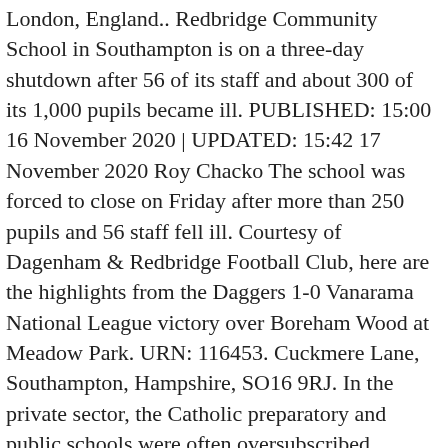London, England.. Redbridge Community School in Southampton is on a three-day shutdown after 56 of its staff and about 300 of its 1,000 pupils became ill. PUBLISHED: 15:00 16 November 2020 | UPDATED: 15:42 17 November 2020 Roy Chacko The school was forced to close on Friday after more than 250 pupils and 56 staff fell ill. Courtesy of Dagenham & Redbridge Football Club, here are the highlights from the Daggers 1-0 Vanarama National League victory over Boreham Wood at Meadow Park. URN: 116453. Cuckmere Lane, Southampton, Hampshire, SO16 9RJ. In the private sector, the Catholic preparatory and public schools were often oversubscribed. schools, homes and GP surgeries. The Redbridge community safety team is launching a series of live virtual meetings where residents can describe what crime issues are causing concern, and critically, what you think could help reduce crime and violence in our local area. Redbridge School's educational team is made of teachers who are: Knowledgeable, Experienced, Passionate, Lifelong learners, Fun and